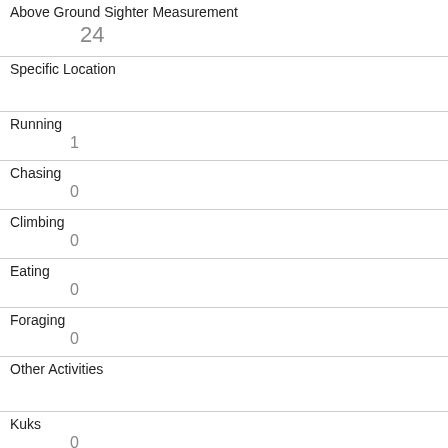| Above Ground Sighter Measurement | 24 |
| Specific Location |  |
| Running | 1 |
| Chasing | 0 |
| Climbing | 0 |
| Eating | 0 |
| Foraging | 0 |
| Other Activities |  |
| Kuks | 0 |
| Quaas | 0 |
| Moans |  |